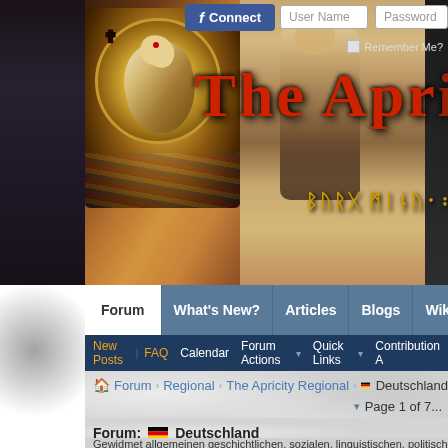[Figure (screenshot): Website header banner with medieval illuminated manuscript artwork and 'The Apricity' forum logo text in red]
f Connect | User Name | Password | Remember Me?
Forum | What's New? | Articles | Blogs | Wiki
New Posts | FAQ | Calendar | Forum Actions | Quick Links | Contribution A...
Forum › Regional › The Apricity Regional › Deutschland
Page 1 of 7...
Last ▶▶
Forum: 🇩🇪 Deutschland
Gewidmet allgemeinen geschichtlichen, sozialen, linguistischen, politischen und